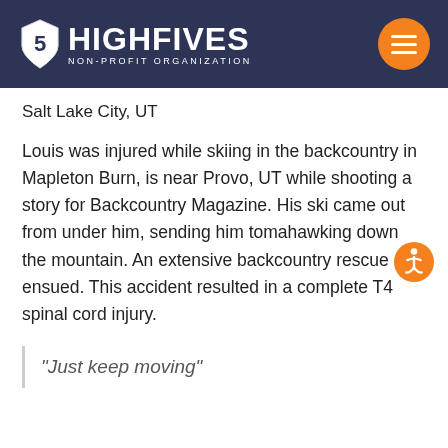HIGH FIVES NON-PROFIT ORGANIZATION
Salt Lake City, UT
Louis was injured while skiing in the backcountry in Mapleton Burn, is near Provo, UT while shooting a story for Backcountry Magazine. His ski came out from under him, sending him tomahawking down the mountain. An extensive backcountry rescue ensued. This accident resulted in a complete T4 spinal cord injury.
“Just keep moving”